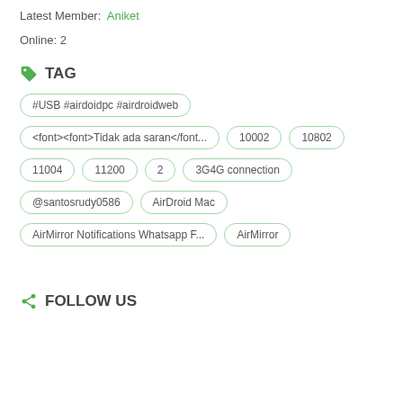Latest Member: Aniket
Online: 2
TAG
#USB #airdoidpc #airdroidweb
<font><font>Tidak ada saran</font...   10002   10802
11004   11200   2   3G4G connection
@santosrudy0586   AirDroid Mac
AirMirror Notifications Whatsapp F...   AirMirror
FOLLOW US